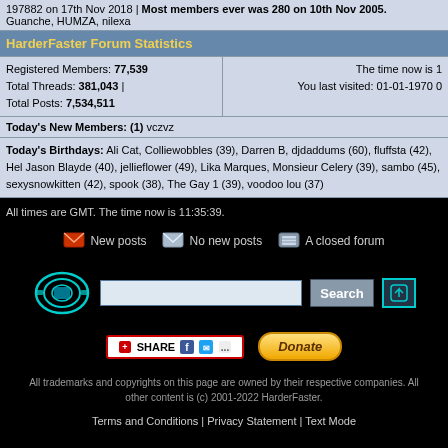197882 on 17th Nov 2018 | Most members ever was 280 on 10th Nov 2005. Guanche, HUMZA, nilexa
HarderFaster Forum Statistics
| Registered Members: 77,539
Total Threads: 381,043 |
Total Posts: 7,534,511 | The time now is 1
You last visited: 01-01-1970 0 |
Today's New Members: (1) vczvz
Today's Birthdays: Ali Cat, Colliewobbles (39), Darren B, djdaddums (60), fluffsta (42), Hel Jason Blayde (40), jellieflower (49), Lika Marques, Monsieur Celery (39), sambo (45), sexysnowkitten (42), spook (38), The Gay 1 (39), voodoo lou (37)
All times are GMT. The time now is 11:35:39.
New posts   No new posts   A closed forum
[Figure (logo): HarderFaster logo with search input and Search button]
[Figure (other): Share button with social icons and Donate button]
All trademarks and copyrights on this page are owned by their respective companies. All other content is (c) 2001-2022 HarderFaster.
Terms and Conditions | Privacy Statement | Text Mode